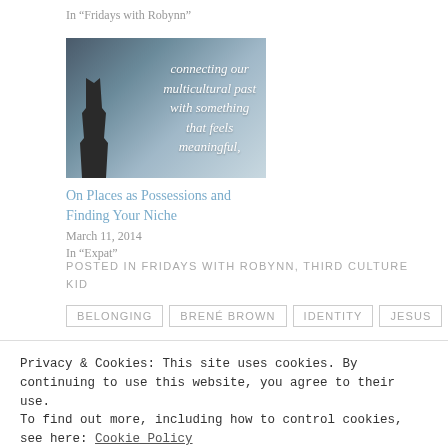In “Fridays with Robynn”
[Figure (photo): A silhouette figure on a road with text overlay reading 'connecting our multicultural past with something that feels meaningful,']
On Places as Possessions and Finding Your Niche
March 11, 2014
In “Expat”
POSTED IN FRIDAYS WITH ROBYNN, THIRD CULTURE KID
BELONGING  BRENÉ BROWN  IDENTITY  JESUS
Privacy & Cookies: This site uses cookies. By continuing to use this website, you agree to their use.
To find out more, including how to control cookies, see here: Cookie Policy
Close and accept
< PREVIOUS  NEXT >